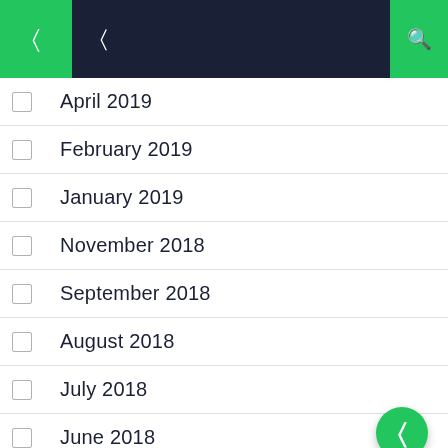Navigation header with menu icons
April 2019
February 2019
January 2019
November 2018
September 2018
August 2018
July 2018
June 2018
April 2018
October 2017